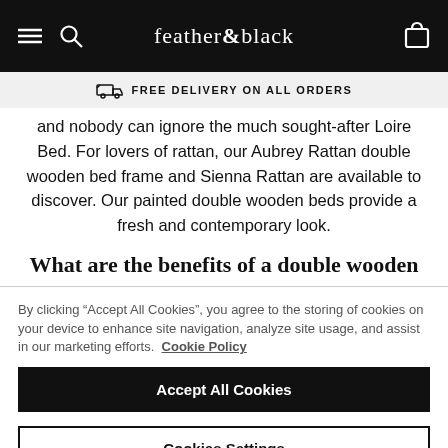feather&black
FREE DELIVERY ON ALL ORDERS
and nobody can ignore the much sought-after Loire Bed. For lovers of rattan, our Aubrey Rattan double wooden bed frame and Sienna Rattan are available to discover. Our painted double wooden beds provide a fresh and contemporary look.
What are the benefits of a double wooden
By clicking “Accept All Cookies”, you agree to the storing of cookies on your device to enhance site navigation, analyze site usage, and assist in our marketing efforts. Cookie Policy
Accept All Cookies
Cookies Settings